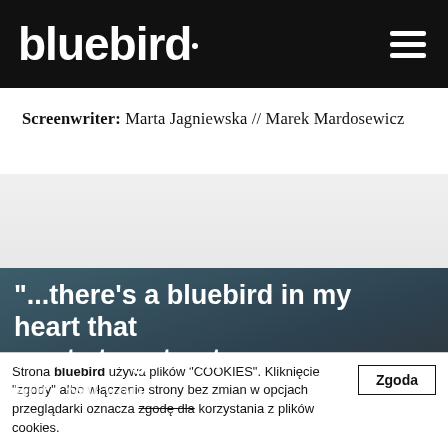bluebird
Screenwriter:  Marta Jagniewska // Marek Mardosewicz
[Figure (photo): Dark atmospheric background image with a bluebird quote overlay: "...there's a bluebird in my heart that wants to get out but I tell you..."]
"...there's a bluebird in my heart that wants to get out
Strona bluebird używa plików "COOKIES". Kliknięcie "zgody" albo włączenie strony bez zmian w opcjach przeglądarki oznacza zgodę dla korzystania z plików cookies.